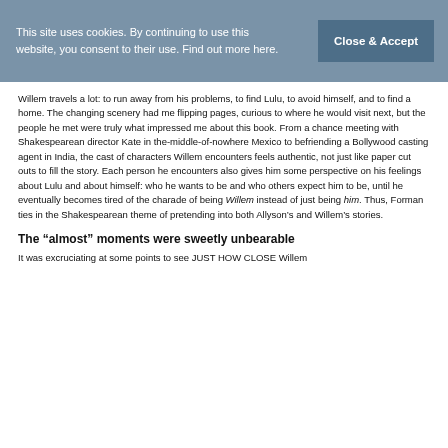This site uses cookies. By continuing to use this website, you consent to their use. Find out more here.
Close & Accept
Willem travels a lot: to run away from his problems, to find Lulu, to avoid himself, and to find a home. The changing scenery had me flipping pages, curious to where he would visit next, but the people he met were truly what impressed me about this book. From a chance meeting with Shakespearean director Kate in the-middle-of-nowhere Mexico to befriending a Bollywood casting agent in India, the cast of characters Willem encounters feels authentic, not just like paper cut outs to fill the story. Each person he encounters also gives him some perspective on his feelings about Lulu and about himself: who he wants to be and who others expect him to be, until he eventually becomes tired of the charade of being Willem instead of just being him. Thus, Forman ties in the Shakespearean theme of pretending into both Allyson’s and Willem’s stories.
The “almost” moments were sweetly unbearable
It was excruciating at some points to see JUST HOW CLOSE Willem